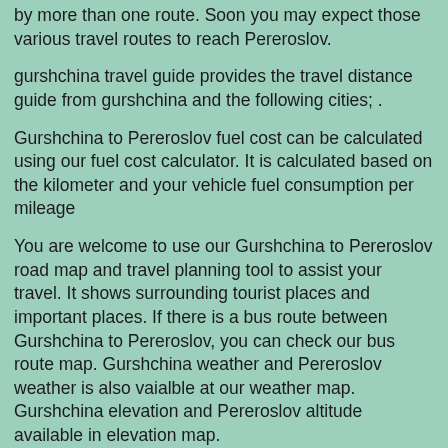by more than one route. Soon you may expect those various travel routes to reach Pereroslov.
gurshchina travel guide provides the travel distance guide from gurshchina and the following cities; .
Gurshchina to Pereroslov fuel cost can be calculated using our fuel cost calculator. It is calculated based on the kilometer and your vehicle fuel consumption per mileage
You are welcome to use our Gurshchina to Pereroslov road map and travel planning tool to assist your travel. It shows surrounding tourist places and important places. If there is a bus route between Gurshchina to Pereroslov, you can check our bus route map. Gurshchina weather and Pereroslov weather is also vaialble at our weather map. Gurshchina elevation and Pereroslov altitude available in elevation map.
Dear travelers you can publish / write the following travel information about Gurshchina and Pereroslov if it